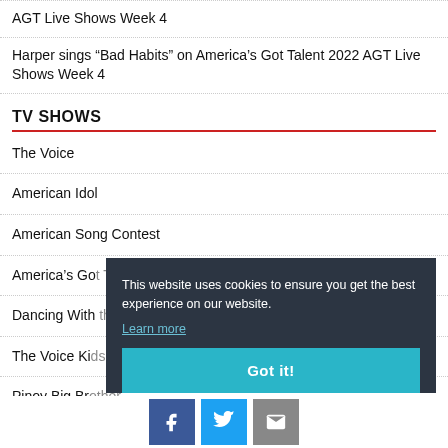AGT Live Shows Week 4
Harper sings “Bad Habits” on America’s Got Talent 2022 AGT Live Shows Week 4
TV SHOWS
The Voice
American Idol
American Song Contest
America’s Go...
Dancing With...
The Voice Ki...
Pinoy Big Bro...
This website uses cookies to ensure you get the best experience on our website.
Learn more
Got it!
Facebook | Twitter | Email